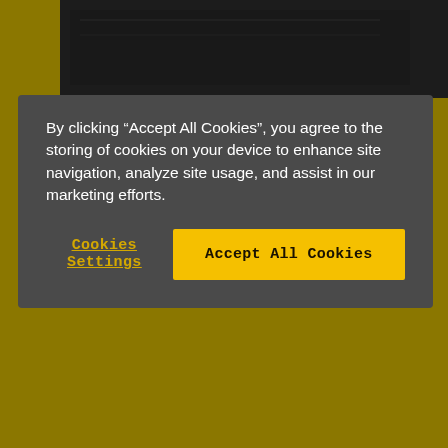[Figure (screenshot): Dark background with CNC machine/computer hardware visible at top of page behind cookie consent modal]
By clicking “Accept All Cookies”, you agree to the storing of cookies on your device to enhance site navigation, analyze site usage, and assist in our marketing efforts.
Cookies Settings
Accept All Cookies
The CNC Series 0i -MODEL F provides the ideal basic solution for multiple control applications. Ready to use, it boasts latest generation hardware and a complete package of standard software. To maximise productivity on more specific applications, it can be easily customised using a range of additional functions.
[Figure (illustration): Social media icons bar: LinkedIn (blue), Facebook (blue), YouTube (red), Email/envelope (grey-teal)]